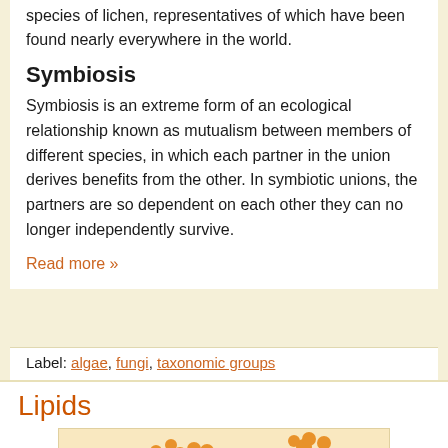species of lichen, representatives of which have been found nearly everywhere in the world.
Symbiosis
Symbiosis is an extreme form of an ecological relationship known as mutualism between members of different species, in which each partner in the union derives benefits from the other. In symbiotic unions, the partners are so dependent on each other they can no longer independently survive.
Read more »
Label: algae, fungi, taxonomic groups
Lipids
[Figure (illustration): Illustration showing a lipid structure with sugar chains labeled, with orange spherical molecules and a blue/purple cell-like structure]